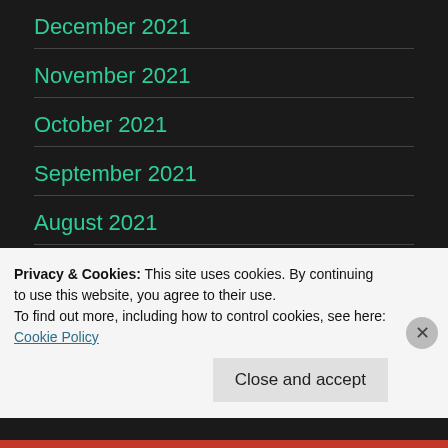December 2021
November 2021
October 2021
September 2021
August 2021
July 2021
Privacy & Cookies: This site uses cookies. By continuing to use this website, you agree to their use.
To find out more, including how to control cookies, see here: Cookie Policy
Close and accept